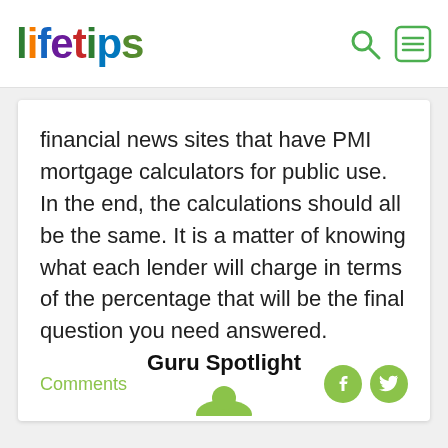lifetips
financial news sites that have PMI mortgage calculators for public use. In the end, the calculations should all be the same. It is a matter of knowing what each lender will charge in terms of the percentage that will be the final question you need answered.
Comments
Guru Spotlight